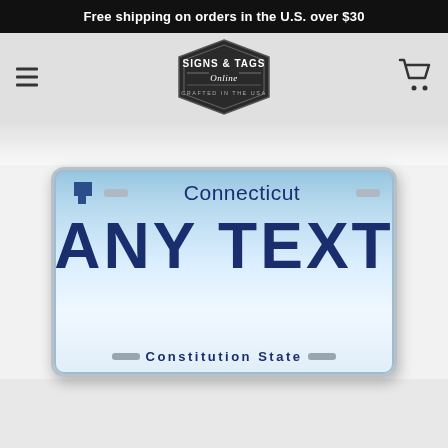Free shipping on orders in the U.S. over $30
[Figure (logo): Signs & Tags Online — Crafted in the USA hexagonal badge logo]
[Figure (illustration): Connecticut custom license plate with 'ANY TEXT' and 'Constitution State' slogan]